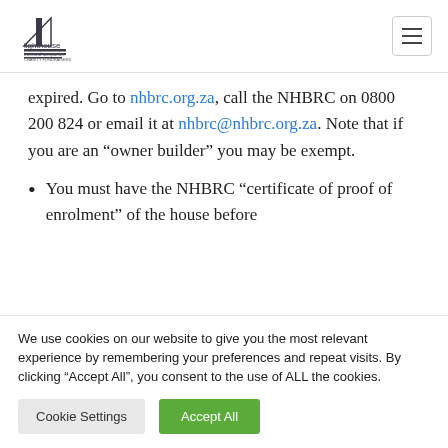lighthouse [logo] | hamburger menu
expired. Go to nhbrc.org.za, call the NHBRC on 0800 200 824 or email it at nhbrc@nhbrc.org.za. Note that if you are an “owner builder” you may be exempt.
You must have the NHBRC “certificate of proof of enrolment” of the house before
We use cookies on our website to give you the most relevant experience by remembering your preferences and repeat visits. By clicking “Accept All”, you consent to the use of ALL the cookies.
Cookie Settings | Accept All